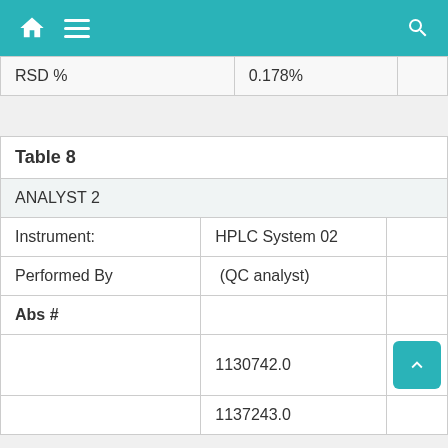Navigation bar with home, menu, and search icons
| RSD % | 0.178% |  |
| Table 8 |  |  |
| --- | --- | --- |
| ANALYST 2 |  |  |
| Instrument: | HPLC System 02 |  |
| Performed By | (QC analyst) |  |
| Abs # |  |  |
|  | 1130742.0 |  |
|  | 1137243.0 |  |